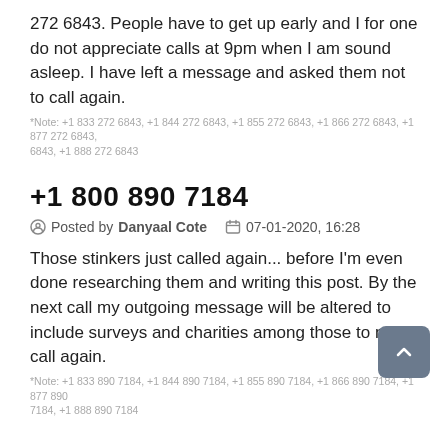272 6843. People have to get up early and I for one do not appreciate calls at 9pm when I am sound asleep. I have left a message and asked them not to call again.
*Note: +1 833 272 6843, +1 844 272 6843, +1 855 272 6843, +1 866 272 6843, +1 877 272 6843, +1 888 272 6843
+1 800 890 7184
Posted by Danyaal Cote   07-01-2020, 16:28
Those stinkers just called again... before I'm even done researching them and writing this post. By the next call my outgoing message will be altered to include surveys and charities among those to not call again.
*Note: +1 833 890 7184, +1 844 890 7184, +1 855 890 7184, +1 866 890 7184, +1 877 890 7184, +1 888 890 7184
+1 800 508 7525
Posted by Ollie Milner   07-01-2020, 16:28